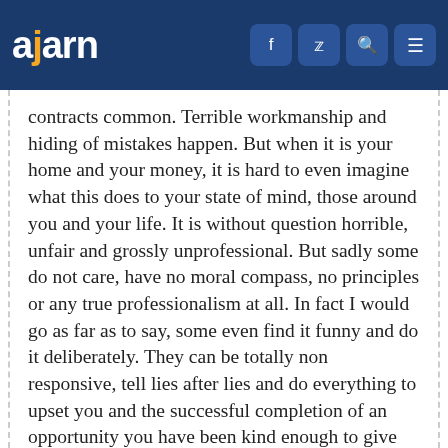ajarn | f | y | Q | ≡
contracts common. Terrible workmanship and hiding of mistakes happen. But when it is your home and your money, it is hard to even imagine what this does to your state of mind, those around you and your life. It is without question horrible, unfair and grossly unprofessional. But sadly some do not care, have no moral compass, no principles or any true professionalism at all. In fact I would go as far as to say, some even find it funny and do it deliberately. They can be totally non responsive, tell lies after lies and do everything to upset you and the successful completion of an opportunity you have been kind enough to give them. They are eating because of you, they are working because of you and they throw it back in your face with disregard, lack of any form of care and in instances with a degree of spiteful behaviour.
I am so glad the situation resolved itself and you won in